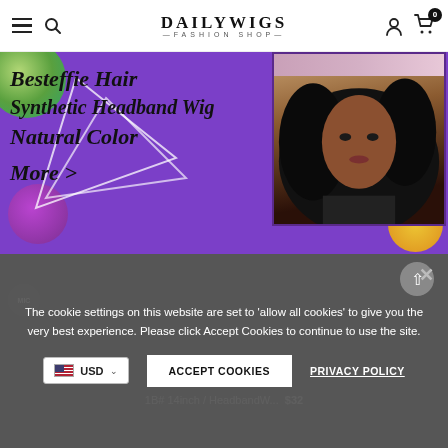DAILYWIGS — FASHION SHOP navigation bar with hamburger menu, search, user icon, cart (0 items)
[Figure (photo): DailyWigs Fashion Shop promotional banner on purple background. Left side shows italic cursive text: 'Besteffie Hair Synthetic Headband Wig Natural Color More >' with white triangle geometric decorations. Right side shows a model wearing a black curly headband wig with a pink headband. Decorative colored circles (green, purple, yellow) in corners.]
The cookie settings on this website are set to 'allow all cookies' to give you the very best experience. Please click Accept Cookies to continue to use the site.
ACCEPT COOKIES
PRIVACY POLICY
USD
1B# 14inch / HeadbandW... $32